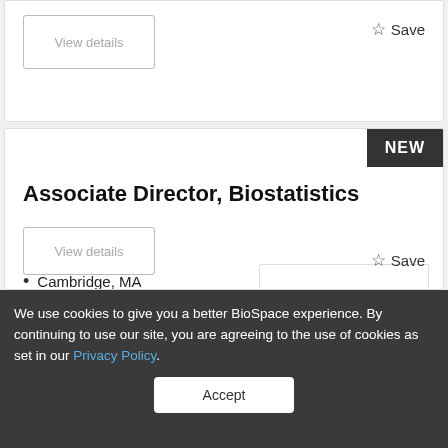View details
☆ Save
Associate Director, Biostatistics
Cambridge, MA
Moderna, Inc.
[Figure (logo): Moderna company logo with red text and blue dashed underline]
The Role:This role is an exciting opportunity to be ...
View details
☆ Save
We use cookies to give you a better BioSpace experience. By continuing to use our site, you are agreeing to the use of cookies as set in our Privacy Policy.
Accept